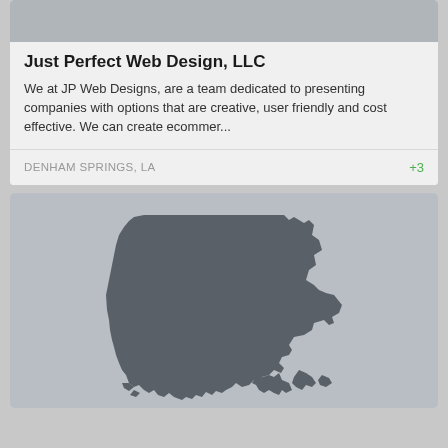[Figure (other): Gray image placeholder banner at top of first card]
Just Perfect Web Design, LLC
We at JP Web Designs, are a team dedicated to presenting companies with options that are creative, user friendly and cost effective. We can create ecommer...
DENHAM SPRINGS, LA
+3
[Figure (map): Gray background with dark gray silhouette of the state of Louisiana]